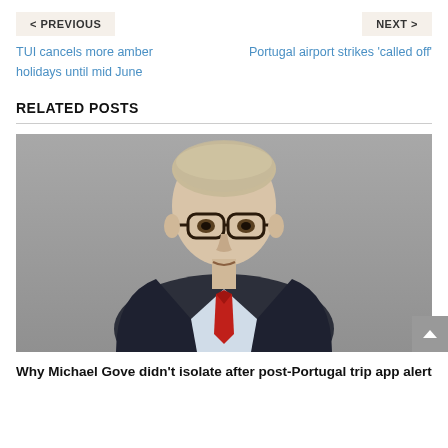< PREVIOUS
NEXT >
TUI cancels more amber holidays until mid June
Portugal airport strikes 'called off'
RELATED POSTS
[Figure (photo): Portrait photo of Michael Gove, a middle-aged man with grey-blond hair wearing dark-rimmed glasses, a dark navy suit, light blue shirt, and red tie, against a grey background.]
Why Michael Gove didn't isolate after post-Portugal trip app alert